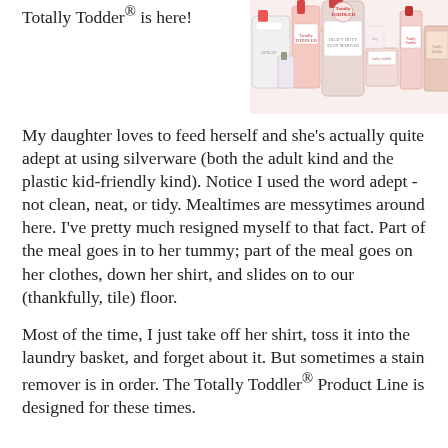Totally Todder® is here!
[Figure (photo): Product photo of Totally Toddler cleaning product line — multiple bottles, sprays, and packaging in pink/white tones arranged together]
My daughter loves to feed herself and she's actually quite adept at using silverware (both the adult kind and the plastic kid-friendly kind). Notice I used the word adept - not clean, neat, or tidy. Mealtimes are messytimes around here. I've pretty much resigned myself to that fact. Part of the meal goes in to her tummy; part of the meal goes on her clothes, down her shirt, and slides on to our (thankfully, tile) floor.
Most of the time, I just take off her shirt, toss it into the laundry basket, and forget about it. But sometimes a stain remover is in order. The Totally Toddler® Product Line is designed for these times.